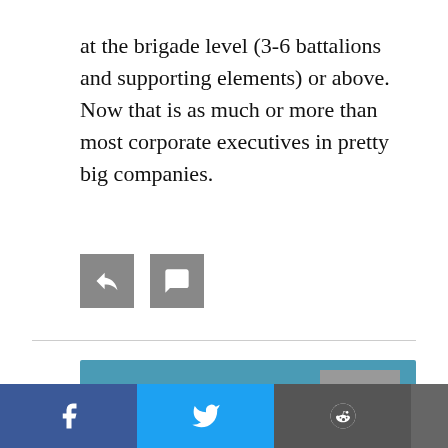at the brigade level (3-6 battalions and supporting elements) or above. Now that is as much or more than most corporate executives in pretty big companies.
[Figure (other): Two small square icon buttons (reply and share icons) in gray]
David Gordon
MAY 16, 2022, 1:42 PM
When they canned Ollie North after such a short time, that proved to me all I needed to know. Ollie North was more interested in being a good, honest leader for the NRA than he was in expensive suits at the way W.L dresses are. Every since they